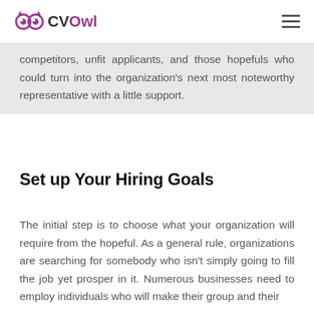CVOwl
competitors, unfit applicants, and those hopefuls who could turn into the organization's next most noteworthy representative with a little support.
Set up Your Hiring Goals
The initial step is to choose what your organization will require from the hopeful. As a general rule, organizations are searching for somebody who isn't simply going to fill the job yet prosper in it. Numerous businesses need to employ individuals who will make their group and their